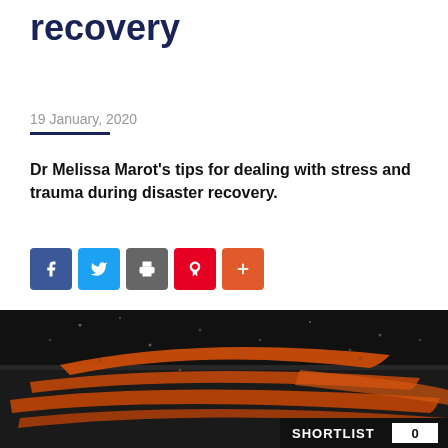recovery
19 January, 2020
Dr Melissa Marot's tips for dealing with stress and trauma during disaster recovery.
[Figure (infographic): Social sharing buttons: Facebook (blue), Twitter (light blue), Print (grey), Pinterest (red), Plus/More (orange-red)]
[Figure (photo): A disaster/fire scene showing orange flames or burnt debris against a dark smoky background with embers and ash. SHORTLIST badge with count 0 in bottom right corner.]